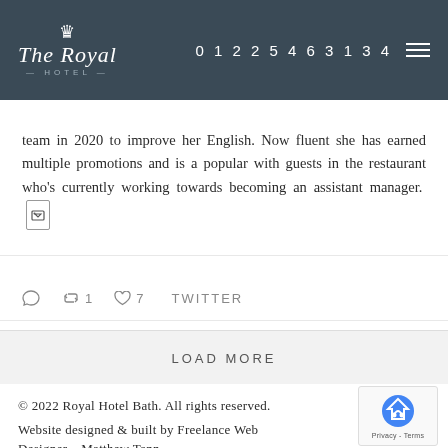The Royal Hotel | 01225 463 134
team in 2020 to improve her English. Now fluent she has earned multiple promotions and is a popular with guests in the restaurant who’s currently working towards becoming an assistant manager.
0 retweets 1 likes 7 TWITTER
LOAD MORE
© 2022 Royal Hotel Bath. All rights reserved.
Website designed & built by Freelance Web Designer – Matthew Tann